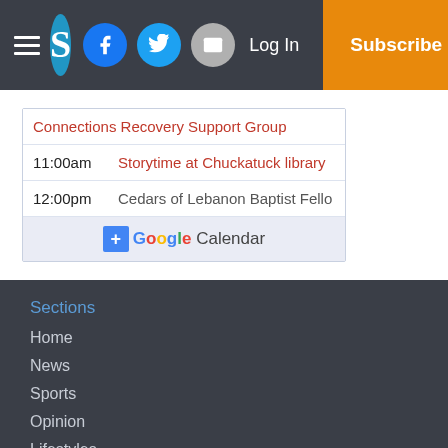Site header with logo S, Facebook, Twitter, Email icons, Log In, Subscribe
|  | Connections Recovery Support Group |
| 11:00am | Storytime at Chuckatuck library |
| 12:00pm | Cedars of Lebanon Baptist Fello |
|  | + Google Calendar |
Sections
Home
News
Sports
Opinion
Lifestyles